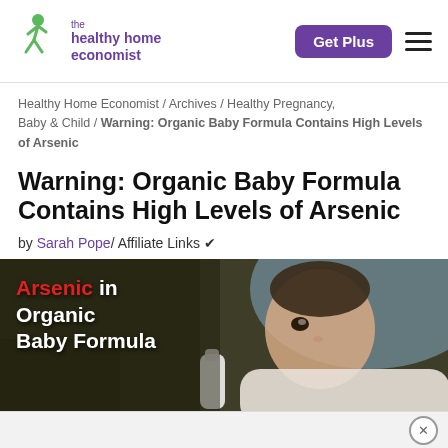the healthy home economist | Get Plus
Healthy Home Economist / Archives / Healthy Pregnancy, Baby & Child / Warning: Organic Baby Formula Contains High Levels of Arsenic
Warning: Organic Baby Formula Contains High Levels of Arsenic
by Sarah Pope/ Affiliate Links ✔
[Figure (photo): Baby being bottle-fed, with text overlay reading 'Arsenic in Organic Baby Formula' — 'Arsenic' in red, rest in white, on a dark background.]